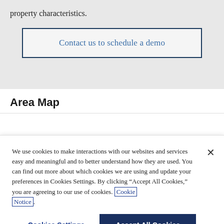property characteristics.
Contact us to schedule a demo
Area Map
We use cookies to make interactions with our websites and services easy and meaningful and to better understand how they are used. You can find out more about which cookies we are using and update your preferences in Cookies Settings. By clicking "Accept All Cookies," you are agreeing to our use of cookies. Cookie Notice.
Cookies Settings
Accept All Cookies